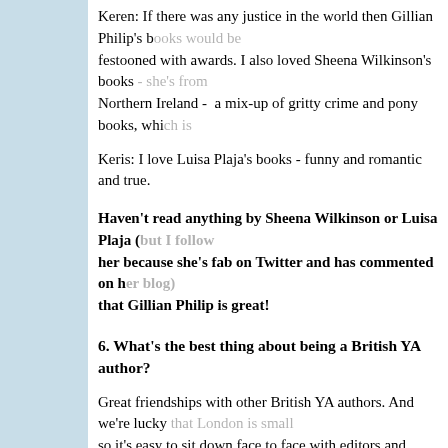Keren: If there was any justice in the world then Gillian Philip's books would be festooned with awards. I also loved Sheena Wilkinson's books - she's from Northern Ireland - a mix-up of gritty crime and pony books, whi...
Keris: I love Luisa Plaja's books - funny and romantic and true.
Haven't read anything by Sheena Wilkinson or Luisa Plaja (but I follow her because she's fab on Twitter and has commented on her blog) and that Gillian Philip is great!
6. What's the best thing about being a British YA author?
Great friendships with other British YA authors. And we're lucky so it's easy to sit down face to face with editors and agents.
7. If you won a fortune on the lottery and could move anyw... Britain would your dream house be?
Keren: North London...just around the corner from where I live n... beach house on the south coast somewhere.
Keris: It would be the Lake District for me, I think. Or one of the...